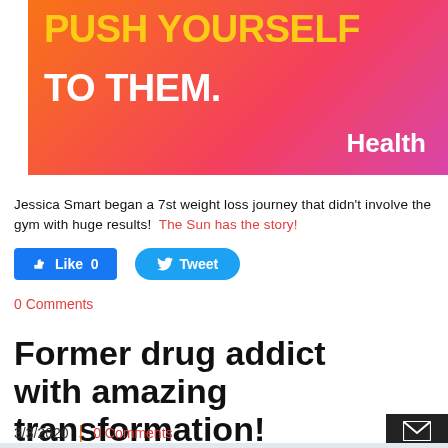[Figure (illustration): Advertisement banner with gradient background (orange to pink/magenta). Yellow bold text partially visible at top 'PUSH YOURSELF TO THEM.' and white 'Health' branding at bottom right.]
Jessica Smart began a 7st weight loss journey that didn't involve the gym with huge results!  The Sun has the story!
[Figure (other): Social media buttons: blue Facebook Like 0 button and blue rounded Twitter Tweet button]
0 Comments
Former drug addict with amazing transformation!
3/3/2020  |  0 Comments